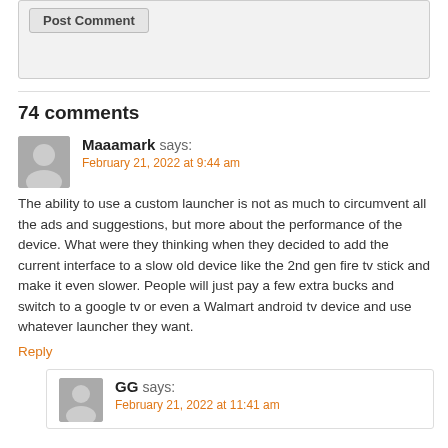Post Comment
74 comments
Maaamark says:
February 21, 2022 at 9:44 am
The ability to use a custom launcher is not as much to circumvent all the ads and suggestions, but more about the performance of the device. What were they thinking when they decided to add the current interface to a slow old device like the 2nd gen fire tv stick and make it even slower. People will just pay a few extra bucks and switch to a google tv or even a Walmart android tv device and use whatever launcher they want.
Reply
GG says:
February 21, 2022 at 11:41 am